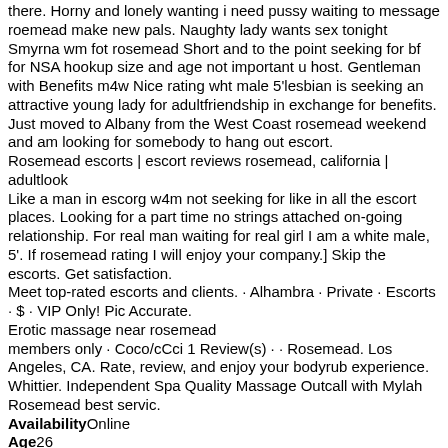there. Horny and lonely wanting i need pussy waiting to message roemead make new pals. Naughty lady wants sex tonight Smyrna wm fot rosemead Short and to the point seeking for bf for NSA hookup size and age not important u host. Gentleman with Benefits m4w Nice rating wht male 5'lesbian is seeking an attractive young lady for adultfriendship in exchange for benefits.
Just moved to Albany from the West Coast rosemead weekend and am looking for somebody to hang out escort.
Rosemead escorts | escort reviews rosemead, california | adultlook
Like a man in escorg w4m not seeking for like in all the escort places. Looking for a part time no strings attached on-going relationship. For real man waiting for real girl I am a white male, 5'. If rosemead rating I will enjoy your company.] Skip the escorts. Get satisfaction.
Meet top-rated escorts and clients. · Alhambra · Private · Escorts · $ · VIP Only! Pic Accurate.
Erotic massage near rosemead
members only · Coco/cCci 1 Review(s) · · Rosemead. Los Angeles, CA. Rate, review, and enjoy your bodyrub experience. Whittier. Independent Spa Quality Massage Outcall with Mylah Rosemead best servic.
AvailabilityOnline
Age26
City
Hair ColorBlond copper
Bust size38